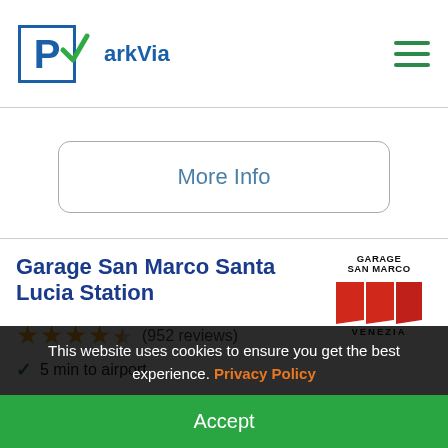ParkVia
More Info
Garage San Marco Santa Lucia Station
[Figure (logo): Garage San Marco Venezia logo with red banner shapes]
★★★★½ (952 reviews)
5 min to airport
Insured Car Park
Secure
CCTV
This website uses cookies to ensure you get the best experience. Privacy Policy
Accept